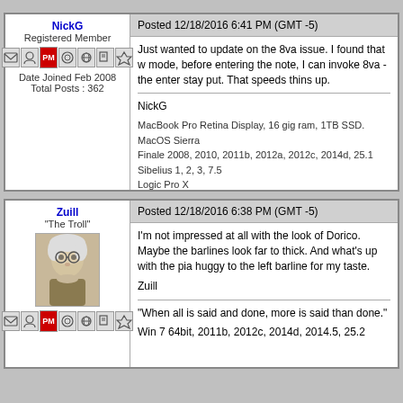NickG
Registered Member
Date Joined Feb 2008
Total Posts : 362
Posted 12/18/2016 6:41 PM (GMT -5)
Just wanted to update on the 8va issue. I found that w... mode, before entering the note, I can invoke 8va - the... enter stay put. That speeds thins up.
NickG
MacBook Pro Retina Display, 16 gig ram, 1TB SSD.
MacOS Sierra
Finale 2008, 2010, 2011b, 2012a, 2012c, 2014d, 25.1
Sibelius 1, 2, 3, 7.5
Logic Pro X
Cubase 7.5
GPO 4
Steinber UR44
Korg M1
M-Audio Keystation Pro 88
Zuill
"The Troll"
Posted 12/18/2016 6:38 PM (GMT -5)
I'm not impressed at all with the look of Dorico. Maybe the barlines look far to thick. And what's up with the pia... huggy to the left barline for my taste.
Zuill
"When all is said and done, more is said than done."
Win 7 64bit, 2011b, 2012c, 2014d, 2014.5, 25.2